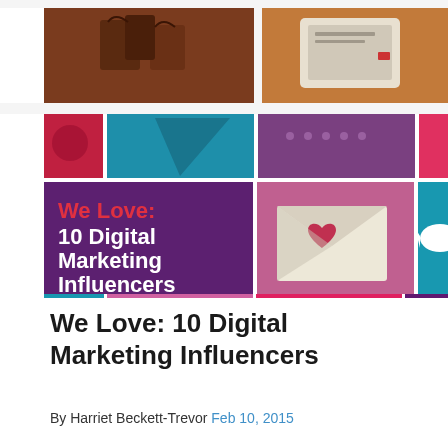[Figure (illustration): Colorful digital marketing collage showing shopping bags, devices, email envelope with heart, Twitter bird, and decorative elements. Central panel reads 'We Love: 10 Digital Marketing Influencers' in white and red text on purple background.]
We Love: 10 Digital Marketing Influencers
By Harriet Beckett-Trevor Feb 10, 2015